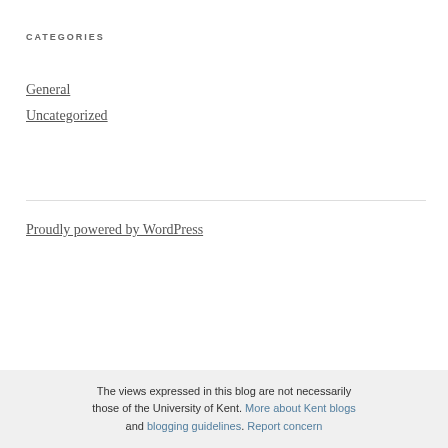CATEGORIES
General
Uncategorized
Proudly powered by WordPress
The views expressed in this blog are not necessarily those of the University of Kent. More about Kent blogs and blogging guidelines. Report concern